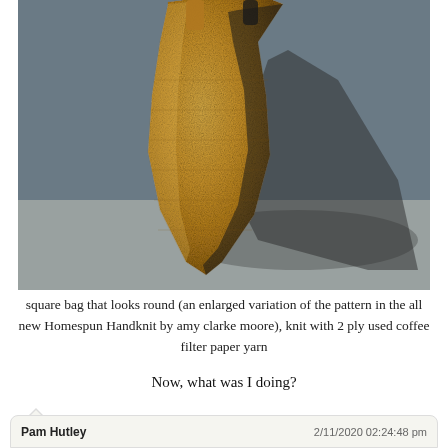[Figure (photo): A knitted bag made from used coffee filter paper yarn, showing a square bag that looks round, with a tan/golden color and dark shadows, photographed on a light surface in sunlight.]
square bag that looks round (an enlarged variation of the pattern in the all new Homespun Handknit by amy clarke moore), knit with 2 ply used coffee filter paper yarn
Now, what was I doing?
Pam Hutley  2/11/2020 02:24:48 pm